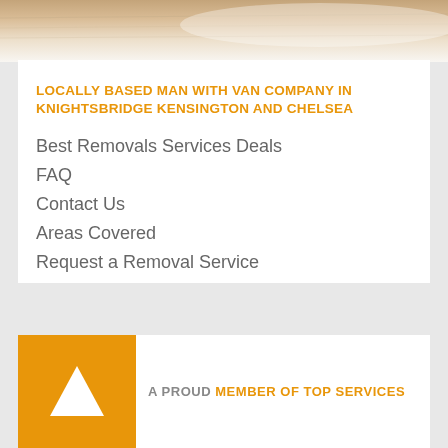[Figure (photo): Photo strip at top of page showing a wooden surface or floor]
LOCALLY BASED MAN WITH VAN COMPANY IN KNIGHTSBRIDGE KENSINGTON AND CHELSEA
Best Removals Services Deals
FAQ
Contact Us
Areas Covered
Request a Removal Service
[Figure (logo): Orange square badge with white triangle/arrow logo and text 'A PROUD MEMBER OF TOP SERVICES']
Company name: Man with Van Knightsbridge Kensington and Chelsea,
Area Served: Knightsbridge Kensington and